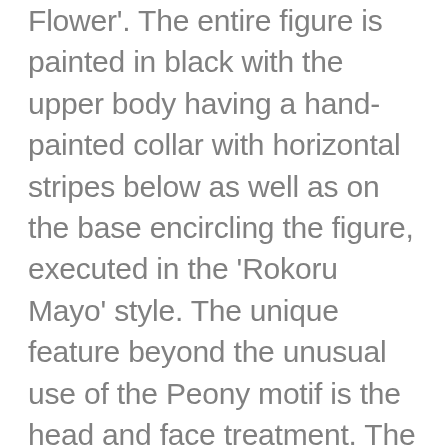Flower'. The entire figure is painted in black with the upper body having a hand-painted collar with horizontal stripes below as well as on the base encircling the figure, executed in the 'Rokoru Mayo' style. The unique feature beyond the unusual use of the Peony motif is the head and face treatment. The hair is very stylized with the Buddhist hairstyle reminiscent of the type when the hair was draped down the back of the head. The face has double eyelids, pick shaped nose, and a tiny red mouth. This particular doll is made of dogwood, (mazuki) which was the preferred wood at the time so as to emphasize the beautiful detailed floral motif. The piece is signed in script on the bottom by the artist.